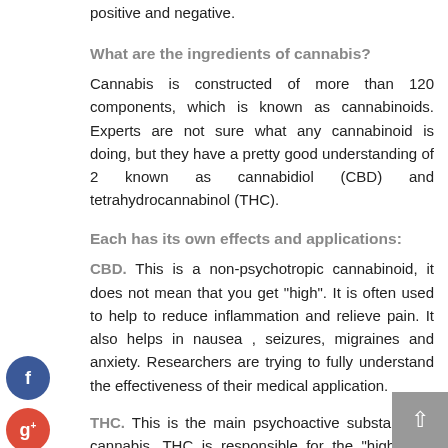positive and negative.
What are the ingredients of cannabis?
Cannabis is constructed of more than 120 components, which is known as cannabinoids. Experts are not sure what any cannabinoid is doing, but they have a pretty good understanding of 2 known as cannabidiol (CBD) and tetrahydrocannabinol (THC).
Each has its own effects and applications:
CBD. This is a non-psychotropic cannabinoid, it does not mean that you get "high". It is often used to help to reduce inflammation and relieve pain. It also helps in nausea , seizures, migraines and anxiety. Researchers are trying to fully understand the effectiveness of their medical application.
THC. This is the main psychoactive substance in cannabis. THC is responsible for the "high" that brings most people with cannabis in combination.